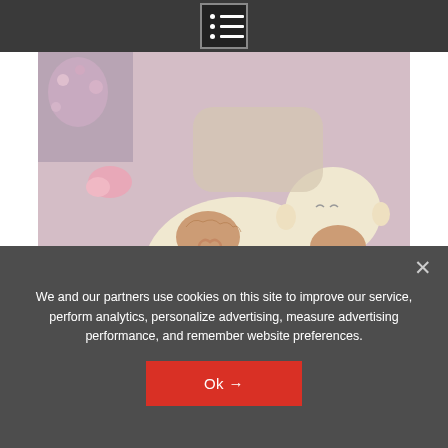Navigation menu icon
[Figure (photo): A baby/infant holding or resting on a soft toy baby doll with a heart embroidered on it, both lying on a pink/lavender surface.]
Amelia has been in the midst of genetic testing when her health took a turn for the worst in November 2017.
We and our partners use cookies on this site to improve our service, perform analytics, personalize advertising, measure advertising performance, and remember website preferences.
Ok →